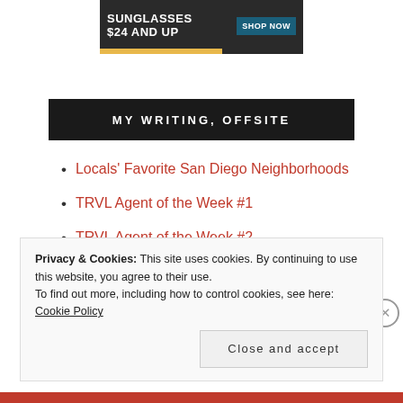[Figure (other): Advertisement banner: SUNGLASSES $24 AND UP with SHOP NOW button on dark background with gold/black stripe]
MY WRITING, OFFSITE
Locals' Favorite San Diego Neighborhoods
TRVL Agent of the Week #1
TRVL Agent of the Week #2
Use TRVL to Arrange Your Wedding Hotel!
Privacy & Cookies: This site uses cookies. By continuing to use this website, you agree to their use.
To find out more, including how to control cookies, see here: Cookie Policy
Close and accept